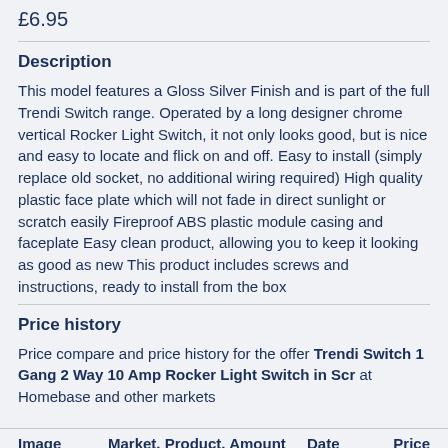£6.95
Description
This model features a Gloss Silver Finish and is part of the full Trendi Switch range. Operated by a long designer chrome vertical Rocker Light Switch, it not only looks good, but is nice and easy to locate and flick on and off. Easy to install (simply replace old socket, no additional wiring required) High quality plastic face plate which will not fade in direct sunlight or scratch easily Fireproof ABS plastic module casing and faceplate Easy clean product, allowing you to keep it looking as good as new This product includes screws and instructions, ready to install from the box
Price history
Price compare and price history for the offer Trendi Switch 1 Gang 2 Way 10 Amp Rocker Light Switch in Scr at Homebase and other markets
| Image | Market, Product, Amount | Date | Price |
| --- | --- | --- | --- |